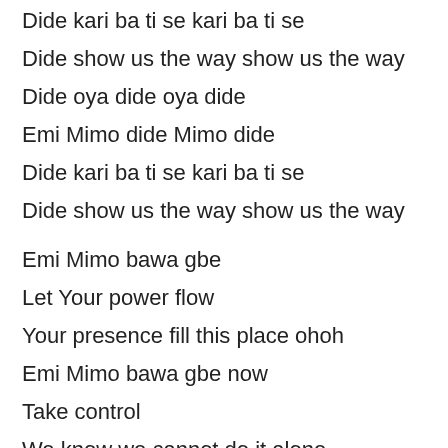Dide kari ba ti se kari ba ti se
Dide show us the way show us the way
Dide oya dide oya dide
Emi Mimo dide Mimo dide
Dide kari ba ti se kari ba ti se
Dide show us the way show us the way
Emi Mimo bawa gbe
Let Your power flow
Your presence fill this place ohoh
Emi Mimo bawa gbe now
Take control
We know we cannot do it alone
Take control